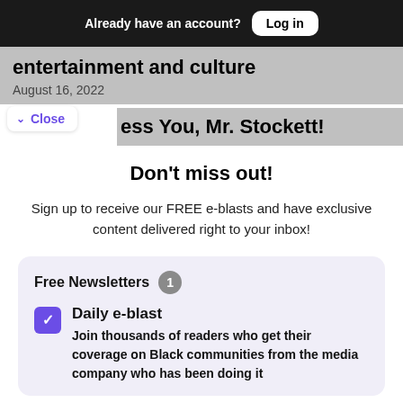Already have an account? Log in
entertainment and culture
August 16, 2022
Close   ess You, Mr. Stockett!
Don't miss out!
Sign up to receive our FREE e-blasts and have exclusive content delivered right to your inbox!
Free Newsletters  1
Daily e-blast
Join thousands of readers who get their coverage on Black communities from the media company who has been doing it